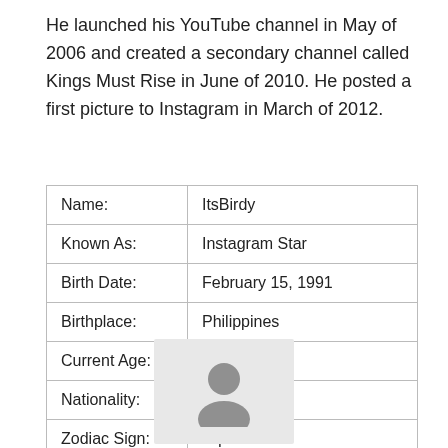He launched his YouTube channel in May of 2006 and created a secondary channel called Kings Must Rise in June of 2010. He posted a first picture to Instagram in March of 2012.
| Name: | ItsBirdy |
| Known As: | Instagram Star |
| Birth Date: | February 15, 1991 |
| Birthplace: | Philippines |
| Current Age: | 31 years old |
| Nationality: |  |
| Zodiac Sign: | Aquarius |
| Generation: | Millennials Generation |
[Figure (illustration): Placeholder avatar silhouette image on light gray background]